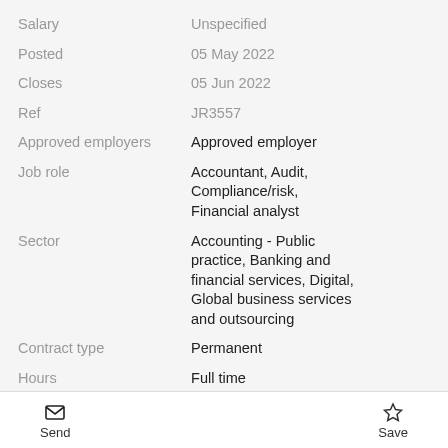| Field | Value |
| --- | --- |
| Salary | Unspecified |
| Posted | 05 May 2022 |
| Closes | 05 Jun 2022 |
| Ref | JR3557 |
| Approved employers | Approved employer |
| Job role | Accountant, Audit, Compliance/risk, Financial analyst |
| Sector | Accounting - Public practice, Banking and financial services, Digital, Global business services and outsourcing |
| Contract type | Permanent |
| Hours | Full time |
| Experience level | Qualified accountant |
Send   Save